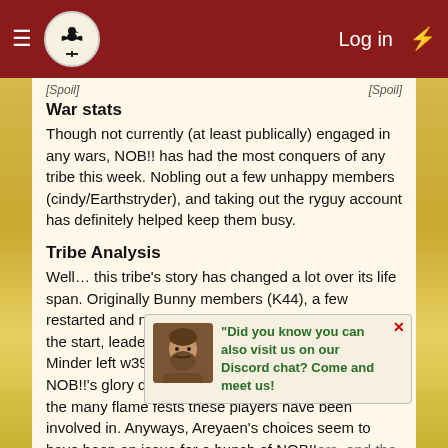Log in
[Spoil]  [Spoil]
War stats
Though not currently (at least publically) engaged in any wars, NOB!! has had the most conquers of any tribe this week. Nobling out a few unhappy members (cindy/Earthstryder), and taking out the ryguy account has definitely helped keep them busy.
Tribe Analysis
Well… this tribe's story has changed a lot over its life span. Originally Bunny members (K44), a few restarted and made NOB!!. Led by MinderBinder at the start, leadership was passed to Areyaen when Minder left w39. I'm sure everyone remembers NOB!!'s glory days, when they warred Cialis/T-T, and the many flame fests these players have been involved in. Anyways, Areyaen's choices seem to have been an issue for a bunch of NOB!!ers, and the tribe was in a little bit of a rut. Then in came TheSettlers the day: diplomacy with Devils, reorganization, etc. There is no doubt that this tribe has had not only skill, but depth of skill. What we have yet to see recently is whether the skill left along with a large portion of the tribe, or
[Figure (other): Discord chat popup with avatar image of a bearded man. Text reads: 'Did you know you can also visit us on our Discord chat? Come and meet us!']